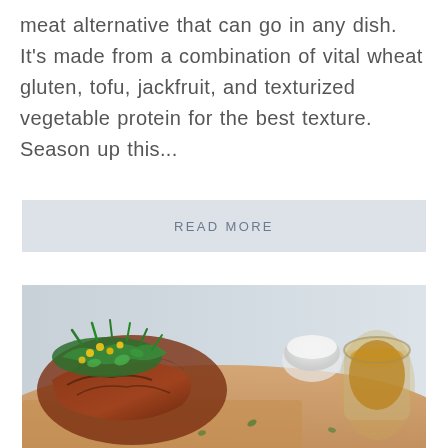meat alternative that can go in any dish. It's made from a combination of vital wheat gluten, tofu, jackfruit, and texturized vegetable protein for the best texture. Season up this...
READ MORE
[Figure (photo): Close-up food photo of a savory dish topped with green onions, corn, and sauce on a wooden board, with small bowls of sauce in the background on a light blue surface.]